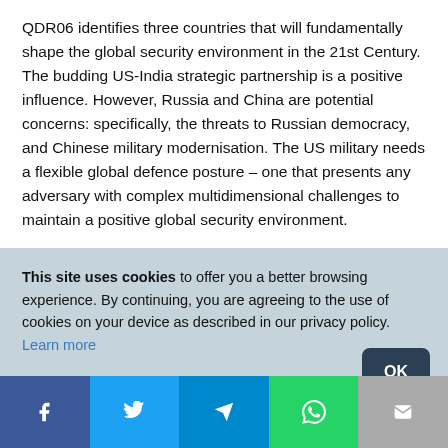QDR06 identifies three countries that will fundamentally shape the global security environment in the 21st Century. The budding US-India strategic partnership is a positive influence. However, Russia and China are potential concerns: specifically, the threats to Russian democracy, and Chinese military modernisation. The US military needs a flexible global defence posture – one that presents any adversary with complex multidimensional challenges to maintain a positive global security environment.
This site uses cookies to offer you a better browsing experience. By continuing, you are agreeing to the use of cookies on your device as described in our privacy policy. Learn more